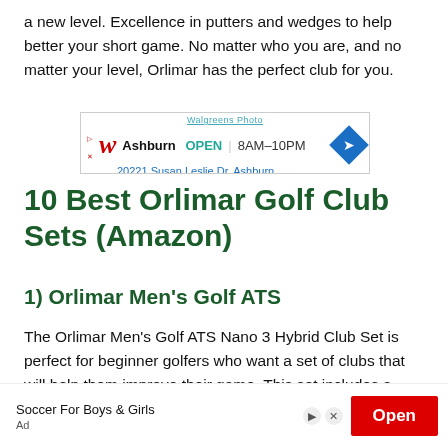a new level. Excellence in putters and wedges to help better your short game. No matter who you are, and no matter your level, Orlimar has the perfect club for you.
[Figure (other): Walgreens Photo advertisement banner showing Walgreens logo, location Ashburn, OPEN 8AM-10PM, and address 20221 Susan Leslie Dr, Ashburn]
10 Best Orlimar Golf Club Sets (Amazon)
1) Orlimar Men's Golf ATS
The Orlimar Men's Golf ATS Nano 3 Hybrid Club Set is perfect for beginner golfers who want a set of clubs that will help them improve their game. This set includes a driver, 3-wood, 7-iron, and a putter, all in regular flex. And the graphite shafts provide extra speed and distance for those
[Figure (other): Soccer For Boys & Girls advertisement with red Open button]